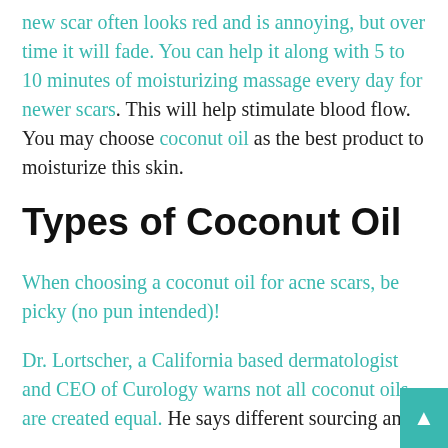new scar often looks red and is annoying, but over time it will fade. You can help it along with 5 to 10 minutes of moisturizing massage every day for newer scars. This will help stimulate blood flow. You may choose coconut oil as the best product to moisturize this skin.
Types of Coconut Oil
When choosing a coconut oil for acne scars, be picky (no pun intended)!
Dr. Lortscher, a California based dermatologist and CEO of Curology warns not all coconut oils are created equal. He says different sourcing and